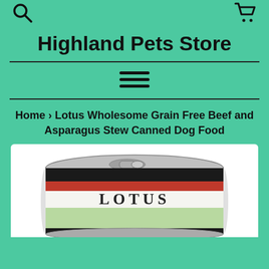Highland Pets Store
Home › Lotus Wholesome Grain Free Beef and Asparagus Stew Canned Dog Food
[Figure (photo): A Lotus brand canned dog food tin, showing the top of the can with a pull tab and the LOTUS brand label on the side.]